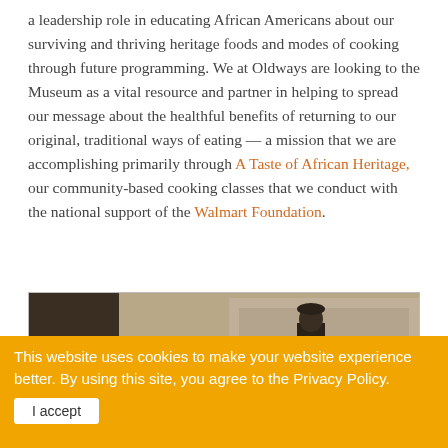a leadership role in educating African Americans about our surviving and thriving heritage foods and modes of cooking through future programming. We at Oldways are looking to the Museum as a vital resource and partner in helping to spread our message about the healthful benefits of returning to our original, traditional ways of eating — a mission that we are accomplishing primarily through A Taste of African Heritage, our community-based cooking classes that we conduct with the national support of the Walmart Foundation.
[Figure (photo): Black and white photograph of a person standing next to what appears to be a large piece of machinery or equipment, outdoors in front of a building.]
This website uses cookies to make your website experience better. By using this site, you agree to the Privacy Policy. I accept